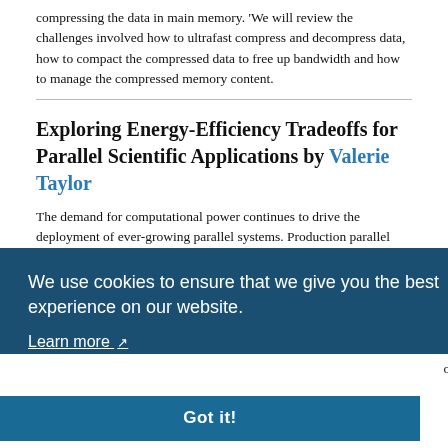compressing the data in main memory. 'We will review the challenges involved how to ultrafast compress and decompress data, how to compact the compressed data to free up bandwidth and how to manage the compressed memory content.
Exploring Energy-Efficiency Tradeoffs for Parallel Scientific Applications by Valerie Taylor
The demand for computational power continues to drive the deployment of ever-growing parallel systems. Production parallel systems with hundreds of thousands of components are being designed and deployed. Future parallel systems are expected to have millions of processors and [text continues behind overlay] ...s. The [...]figured [...]omplex [...] a [...] ficient [...] ive for [...] have
[...the] complicated tradeoffs among runtime and power. This talk will present